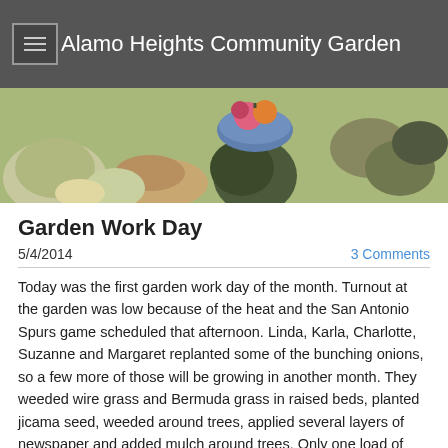Alamo Heights Community Garden
[Figure (photo): Banner photo showing a display of gourds, melons, and vegetables with a bowl of flowers in the center]
Garden Work Day
5/4/2014
3 Comments
Today was the first garden work day of the month. Turnout at the garden was low because of the heat and the San Antonio Spurs game scheduled that afternoon. Linda, Karla, Charlotte, Suzanne and Margaret replanted some of the bunching onions, so a few more of those will be growing in another month. They weeded wire grass and Bermuda grass in raised beds, planted jicama seed, weeded around trees, applied several layers of newspaper and added mulch around trees. Only one load of mulch was used to work in the south orchard. They also placed gator bags around the trees in anticipation of the